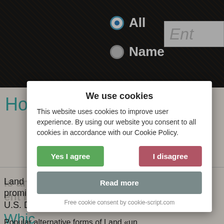All | Name | Ent...
How popular is Land?
Land is an uncommonly occurring first name, prominently last name for all people (#...). U.S. DEM...
Which version is better?
Popular alternative forms of Land «un...
[Figure (screenshot): Cookie consent modal overlay with title 'We use cookies', body text about cookie policy, 'Yes I agree' (green) and 'I disagree' (red) buttons, a 'Read more' (gray) button, and footer 'Free cookie consent by cookie-script.com']